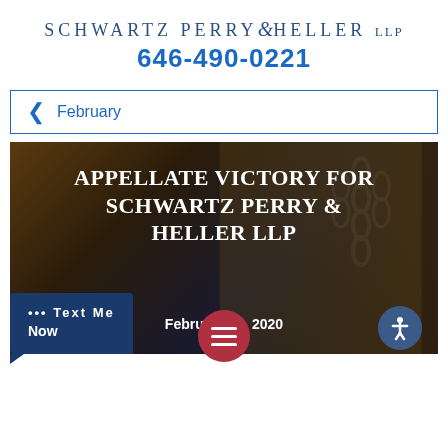SCHWARTZ PERRY & HELLER LLP
646-490-0221
< February
[Figure (photo): Hero image with dark background resembling a justice statue/scales of justice, with overlaid white bold text reading 'APPELLATE VICTORY FOR SCHWARTZ PERRY & HELLER LLP' and date 'February 12, 2020'. Bottom UI elements include a Text Me Now button, hamburger menu button, and accessibility button.]
APPELLATE VICTORY FOR SCHWARTZ PERRY & HELLER LLP
February 12, 2020